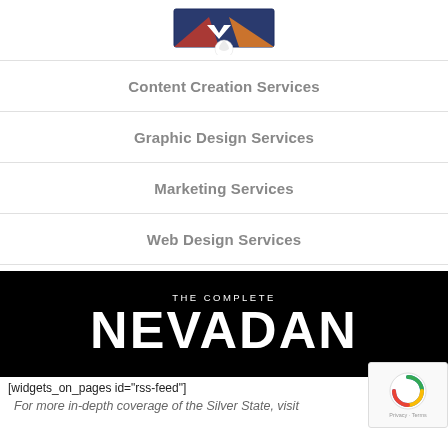[Figure (logo): Logo image with soccer ball and banner graphic at top of page]
Content Creation Services
Graphic Design Services
Marketing Services
Web Design Services
[Figure (illustration): The Complete Nevadan banner image — black background with white bold text reading 'THE COMPLETE' above large 'NEVADAN']
[widgets_on_pages id="rss-feed"]
For more in-depth coverage of the Silver State, visit